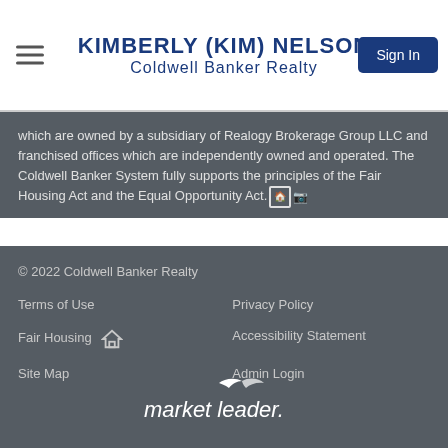KIMBERLY (KIM) NELSON
Coldwell Banker Realty
which are owned by a subsidiary of Realogy Brokerage Group LLC and franchised offices which are independently owned and operated. The Coldwell Banker System fully supports the principles of the Fair Housing Act and the Equal Opportunity Act.
© 2022 Coldwell Banker Realty
Terms of Use
Privacy Policy
Fair Housing
Accessibility Statement
Site Map
Admin Login
[Figure (logo): market leader. logo in white italic text with a bird/swoosh above]